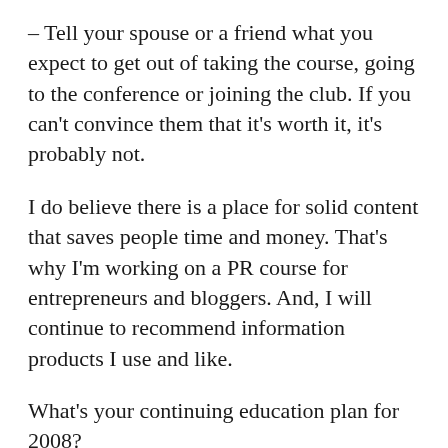– Tell your spouse or a friend what you expect to get out of taking the course, going to the conference or joining the club. If you can't convince them that it's worth it, it's probably not.
I do believe there is a place for solid content that saves people time and money. That's why I'm working on a PR course for entrepreneurs and bloggers. And, I will continue to recommend information products I use and like.
What's your continuing education plan for 2008?